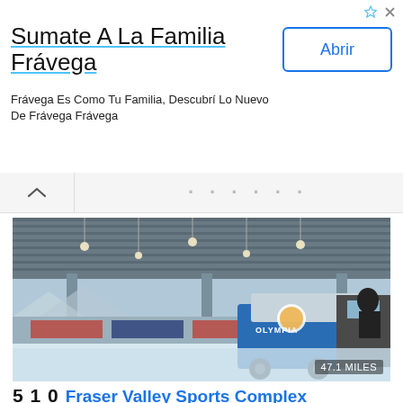[Figure (screenshot): Advertisement banner for Frávega. Title: 'Sumate A La Familia Frávega'. Subtitle: 'Frávega Es Como Tu Familia, Descubrí Lo Nuevo De Frávega Frávega'. Button: 'Abrir'. Top-right icons for sponsored and close.]
[Figure (photo): Interior of an ice rink facility with steel roof trusses and pendant lights, an OLYMPIA ice resurfacer (Zamboni) being operated, with mountains visible in background. Distance badge: 47.1 MILES.]
510 Fraser Valley Sports Complex
SKATING RINKS   0 VOTES
220 COUNTY RD 514, FRASER, CO 80442   Less Info
Open during winter, Fraser Valley Sports Complex has an